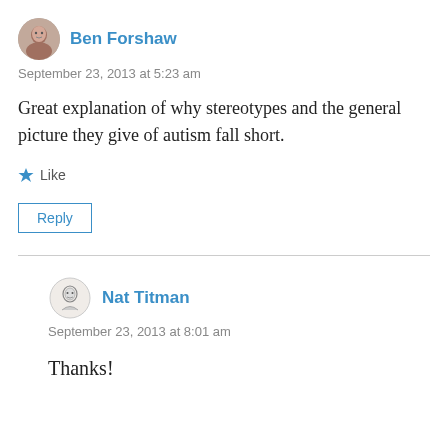Ben Forshaw
September 23, 2013 at 5:23 am
Great explanation of why stereotypes and the general picture they give of autism fall short.
Like
Reply
Nat Titman
September 23, 2013 at 8:01 am
Thanks!